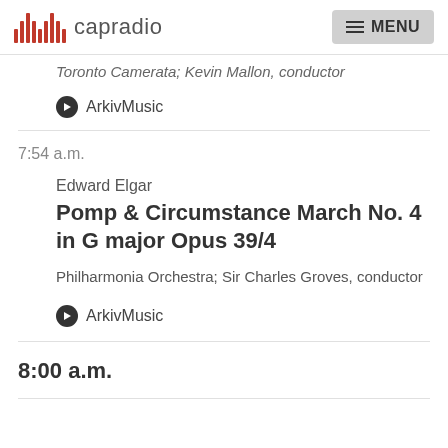capradio | MENU
Toronto Camerata; Kevin Mallon, conductor
ArkivMusic
7:54 a.m.
Edward Elgar
Pomp & Circumstance March No. 4 in G major Opus 39/4
Philharmonia Orchestra; Sir Charles Groves, conductor
ArkivMusic
8:00 a.m.